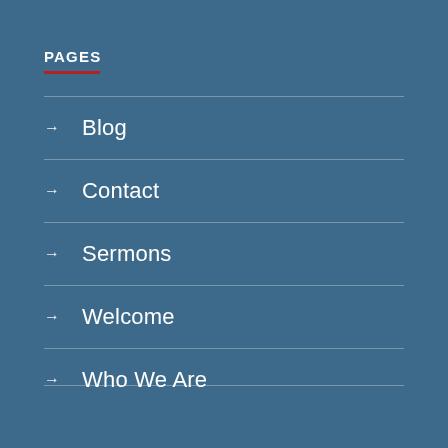PAGES
→ Blog
→ Contact
→ Sermons
→ Welcome
→ Who We Are